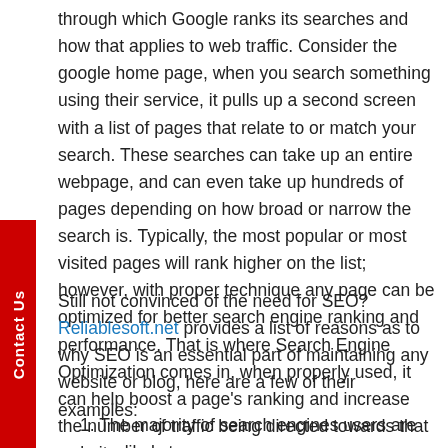through which Google ranks its searches and how that applies to web traffic. Consider the google home page, when you search something using their service, it pulls up a second screen with a list of pages that relate to or match your search. These searches can take up an entire webpage, and can even take up hundreds of pages depending on how broad or narrow the search is. Typically, the most popular or most visited pages will rank higher on the list; however, with proper technique any page can be optimized for better search engine ranking and performance. That is where Search Engine Optimization comes in, when properly used, it can help boost a page's ranking and increase the number of traffic being directed towards that website.
Still not convinced of the need for SEO? Reliablesoft.net provides a list of reasons as to why SEO is an essential part of maintaining any website or blog, here are a few of their examples:
1. The majority of search engines users are more likely to